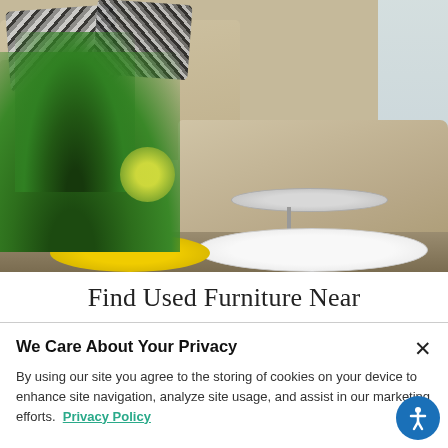[Figure (photo): Interior lifestyle photo showing a beige sectional sofa with black-and-white patterned pillows, green plants in a yellow tray, a gray round side table, and a large white round coffee table on a light background.]
Find Used Furniture Near
We Care About Your Privacy
By using our site you agree to the storing of cookies on your device to enhance site navigation, analyze site usage, and assist in our marketing efforts.  Privacy Policy